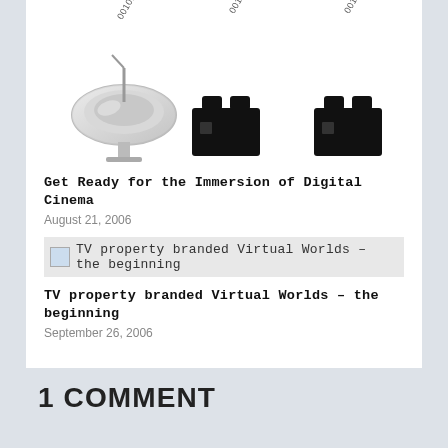[Figure (illustration): Three illustrations: a satellite dish on the left, and two film camera silhouettes in the center and right, each with diagonal text reading '001010010100' above them, suggesting digital data transmission to cinema cameras.]
Get Ready for the Immersion of Digital Cinema
August 21, 2006
[Figure (illustration): Thumbnail image placeholder for 'TV property branded Virtual Worlds – the beginning' article]
TV property branded Virtual Worlds – the beginning
TV property branded Virtual Worlds – the beginning
September 26, 2006
1 COMMENT